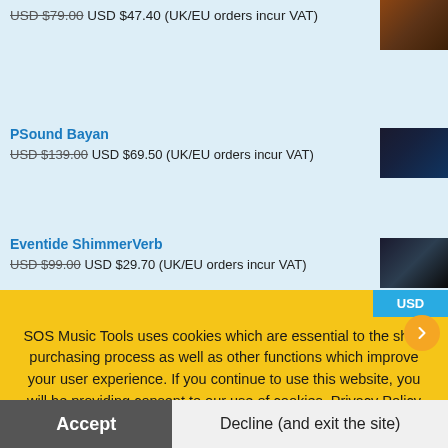USD $79.00 USD $47.40 (UK/EU orders incur VAT)
PSound Bayan — USD $139.00 USD $69.50 (UK/EU orders incur VAT)
Eventide ShimmerVerb — USD $99.00 USD $29.70 (UK/EU orders incur VAT)
Sonnox Elite Bundle (Native)
SOS Music Tools uses cookies which are essential to the shop purchasing process as well as other functions which improve your user experience. If you continue to use this website, you will be providing consent to our use of cookies. Privacy Policy
Accept
Decline (and exit the site)